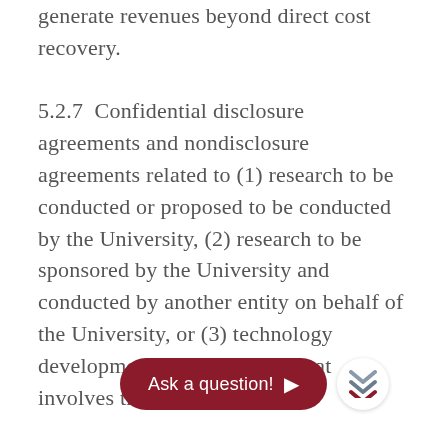generate revenues beyond direct cost recovery.
5.2.7  Confidential disclosure agreements and nondisclosure agreements related to (1) research to be conducted or proposed to be conducted by the University, (2) research to be sponsored by the University and conducted by another entity on behalf of the University, or (3) technology development and/or transfer that involves the University.